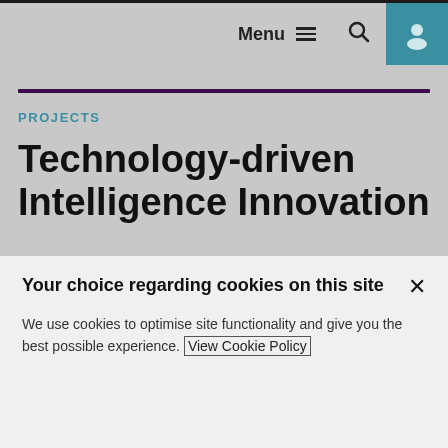Menu  🔍  [user icon]
PROJECTS
Technology-driven Intelligence Innovation
This theme looks at the opportunities
Your choice regarding cookies on this site
We use cookies to optimise site functionality and give you the best possible experience. View Cookie Policy